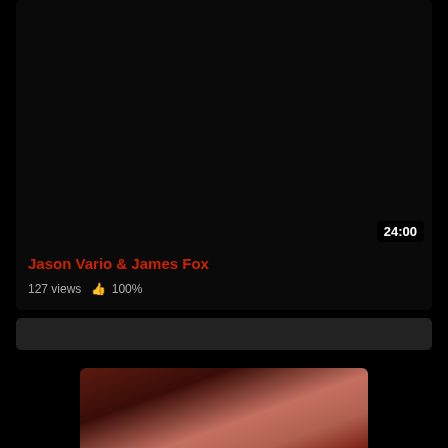[Figure (screenshot): Video thumbnail card with dark/black background, showing duration badge '24:00' in bottom-right area]
Jason Vario & James Fox
127 views  👍 100%
[Figure (screenshot): Dark search/filter bar]
[Figure (photo): Partial photo thumbnail of people, warm reddish-brown tones, cropped at bottom of page]